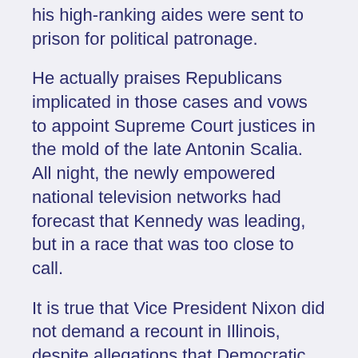his high-ranking aides were sent to prison for political patronage.
He actually praises Republicans implicated in those cases and vows to appoint Supreme Court justices in the mold of the late Antonin Scalia. All night, the newly empowered national television networks had forecast that Kennedy was leading, but in a race that was too close to call.
It is true that Vice President Nixon did not demand a recount in Illinois, despite allegations that Democratic voter fraud in Cook County was rampant, possibly even greater than Republican fraud downstate.
France tests its first atomic bomb and joins those countries with nuclear bomb technology. September 10th to September 14th Iraq, Iran, Kuwait, Saudi Arabia and Venezuela meet in Baghdad to discuss ways to increase